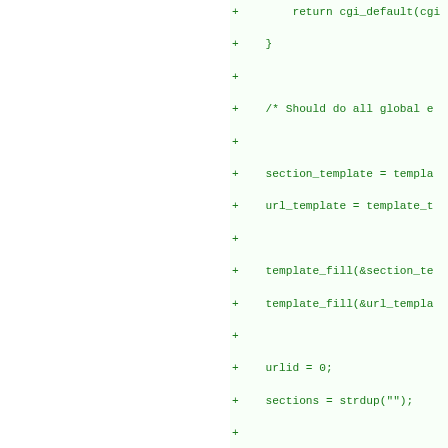[Figure (other): Code diff view showing added lines (marked with '+') of C code including template filling, urlid, sections, actions loop, section_exports, snprintf, map calls, and while loop]